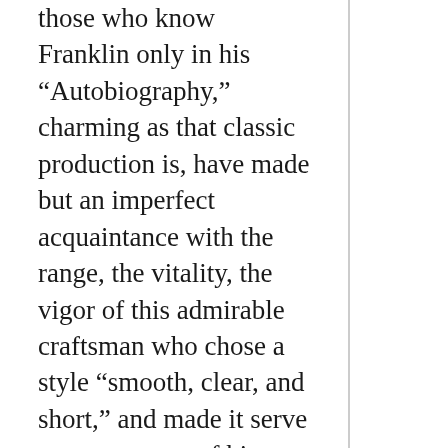those who know Franklin only in his “Autobiography,” charming as that classic production is, have made but an imperfect acquaintance with the range, the vitality, the vigor of this admirable craftsman who chose a style “smooth, clear, and short,” and made it serve every purpose of his versatile and beneficent mind.
When the passage of the Stamp Act in 1765 startled the American colonies out of their provincial sense of security and made them aware of their real attitude toward the mother country, Franklin was in London. Eleven years earlier, in 1754, he had offered a plan